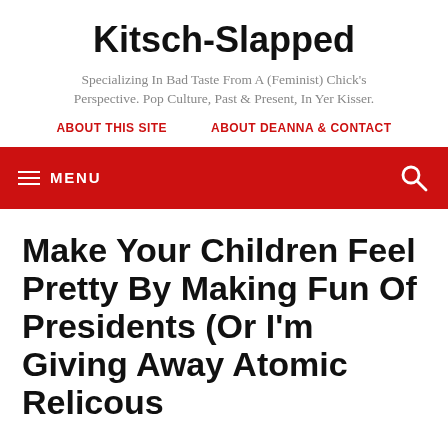Kitsch-Slapped
Specializing In Bad Taste From A (Feminist) Chick's Perspective. Pop Culture, Past & Present, In Yer Kisser.
ABOUT THIS SITE   ABOUT DEANNA & CONTACT
≡ MENU
Make Your Children Feel Pretty By Making Fun Of Presidents (Or I'm Giving Away Atomic Relicous